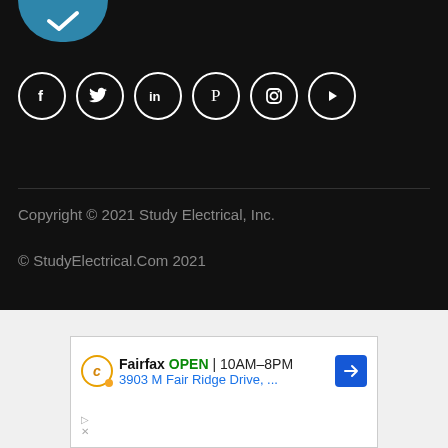[Figure (logo): Partial circular logo with white checkmark/lightning bolt icon on teal/blue background, cropped at top]
[Figure (illustration): Row of 6 social media icon circles (Facebook, Twitter, LinkedIn, Pinterest, Instagram, YouTube) with white icons on dark background]
Copyright © 2021 Study Electrical, Inc.
© StudyElectrical.Com 2021
[Figure (screenshot): Advertisement box showing: Fairfax OPEN 10AM-8PM, 3903 M Fair Ridge Drive, ... with navigation arrow icon and ad controls]